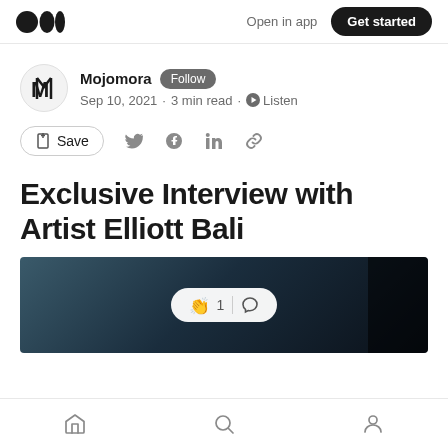Open in app | Get started
Mojomora · Follow · Sep 10, 2021 · 3 min read · Listen
Save
Exclusive Interview with Artist Elliott Bali
[Figure (photo): Dark atmospheric photo partially visible, with a clap reaction bubble showing '1' and a comment icon overlay]
Home | Search | Profile navigation icons